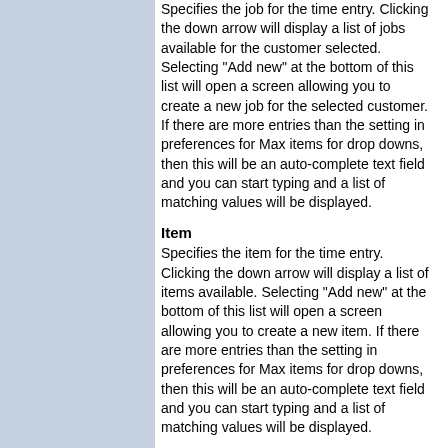Specifies the job for the time entry. Clicking the down arrow will display a list of jobs available for the customer selected. Selecting "Add new" at the bottom of this list will open a screen allowing you to create a new job for the selected customer. If there are more entries than the setting in preferences for Max items for drop downs, then this will be an auto-complete text field and you can start typing and a list of matching values will be displayed.
Item
Specifies the item for the time entry. Clicking the down arrow will display a list of items available. Selecting "Add new" at the bottom of this list will open a screen allowing you to create a new item. If there are more entries than the setting in preferences for Max items for drop downs, then this will be an auto-complete text field and you can start typing and a list of matching values will be displayed.
Date
Enter the date that the work for the time entry began.
Hours
Enter the totals hours for the entry. Optionally, you can use the timer function (see below).
Status